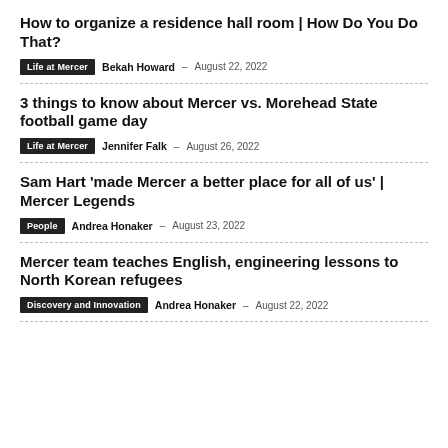How to organize a residence hall room | How Do You Do That?
Life at Mercer  Bekah Howard  –  August 22, 2022
3 things to know about Mercer vs. Morehead State football game day
Life at Mercer  Jennifer Falk  –  August 26, 2022
Sam Hart 'made Mercer a better place for all of us' | Mercer Legends
People  Andrea Honaker  –  August 23, 2022
Mercer team teaches English, engineering lessons to North Korean refugees
Discovery and Innovation  Andrea Honaker  –  August 22, 2022